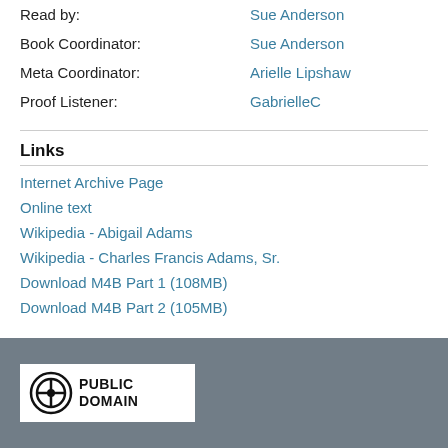Read by: Sue Anderson
Book Coordinator: Sue Anderson
Meta Coordinator: Arielle Lipshaw
Proof Listener: GabrielleC
Links
Internet Archive Page
Online text
Wikipedia - Abigail Adams
Wikipedia - Charles Francis Adams, Sr.
Download M4B Part 1 (108MB)
Download M4B Part 2 (105MB)
[Figure (logo): Public Domain badge with CC0 icon]